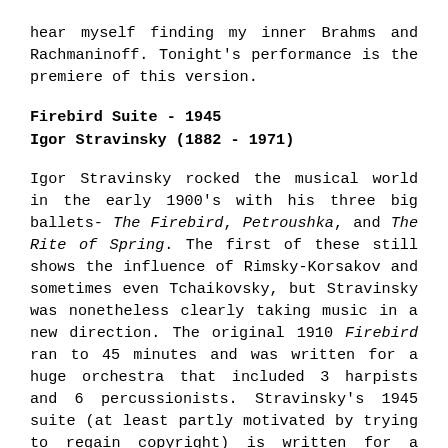hear myself finding my inner Brahms and Rachmaninoff. Tonight's performance is the premiere of this version.
Firebird Suite - 1945
Igor Stravinsky (1882 - 1971)
Igor Stravinsky rocked the musical world in the early 1900's with his three big ballets- The Firebird, Petroushka, and The Rite of Spring. The first of these still shows the influence of Rimsky-Korsakov and sometimes even Tchaikovsky, but Stravinsky was nonetheless clearly taking music in a new direction. The original 1910 Firebird ran to 45 minutes and was written for a huge orchestra that included 3 harpists and 6 percussionists. Stravinsky's 1945 suite (at least partly motivated by trying to regain copyright) is written for a smaller orchestra, and much of the shimmering effects of the original are replaced by a